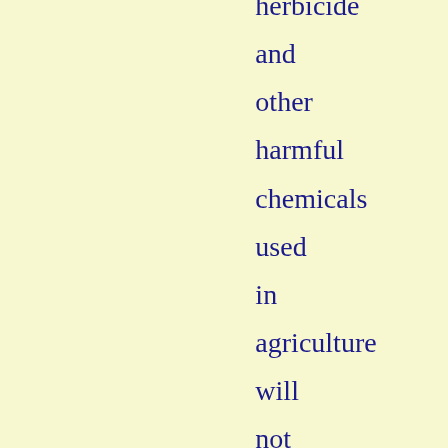herbicide and other harmful chemicals used in agriculture will not simply wash off of the produce. Glyphosate is reported to be a